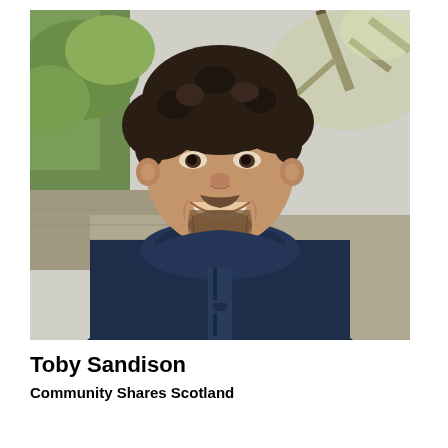[Figure (photo): Portrait photo of a smiling man with dark curly hair and a beard, wearing a navy blue hooded jacket. Background shows blurred trees and a stone wall outdoors.]
Toby Sandison
Community Shares Scotland